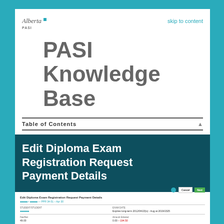Alberta PASI | skip to content
PASI Knowledge Base
Table of Contents
Edit Diploma Exam Registration Request Payment Details
[Figure (screenshot): Screenshot of the Edit Diploma Exam Registration Request Payment Details page in PASI, showing student info fields, exam session dates, fee amount, and Cancel/Next buttons.]